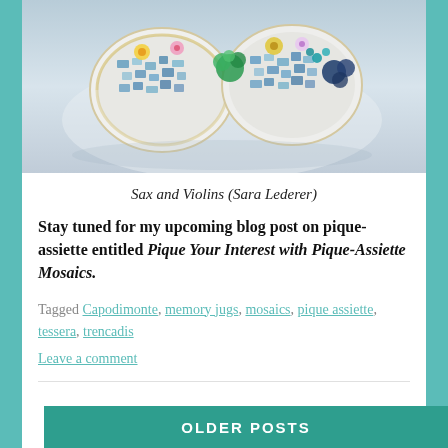[Figure (photo): Decorative mosaic/jeweled art piece (Sax and Violins by Sara Lederer) — ornate colorful beaded and tiled object on white background]
Sax and Violins (Sara Lederer)
Stay tuned for my upcoming blog post on pique-assiette entitled Pique Your Interest with Pique-Assiette Mosaics.
Tagged Capodimonte, memory jugs, mosaics, pique assiette, tessera, trencadis
Leave a comment
OLDER POSTS